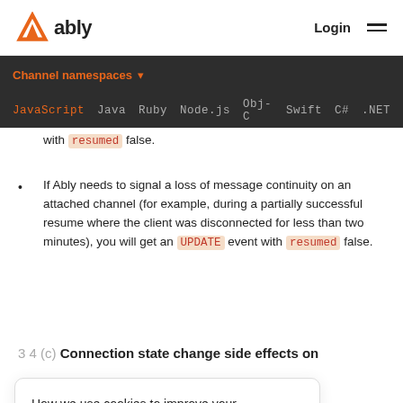ably  Login ☰
Channel namespaces ▾
JavaScript  Java  Ruby  Node.js  Obj-C  Swift  C#  .NET
with resumed false.
If Ably needs to signal a loss of message continuity on an attached channel (for example, during a partially successful resume where the client was disconnected for less than two minutes), you will get an UPDATE event with resumed false.
3 4 (c) Connection state change side effects on
How we use cookies to improve your experience.
Accept and close
l channels will
l channels will
If the connection state becomes SUSPENDED, all previously-ATTACHED   ATTACHING channels will be SUSPENDED